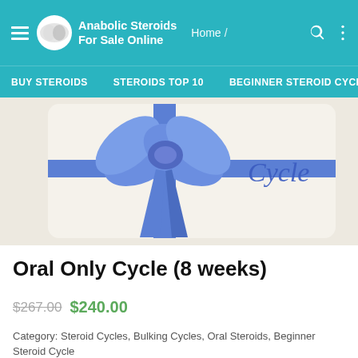Anabolic Steroids For Sale Online — Home / BUY STEROIDS | STEROIDS TOP 10 | BEGINNER STEROID CYCL
[Figure (photo): Gift box with a large blue ribbon bow on a cream/off-white background, with cursive text 'Cycle' visible on the right side]
Oral Only Cycle (8 weeks)
$267.00 $240.00
Category: Steroid Cycles, Bulking Cycles, Oral Steroids, Beginner Steroid Cycle